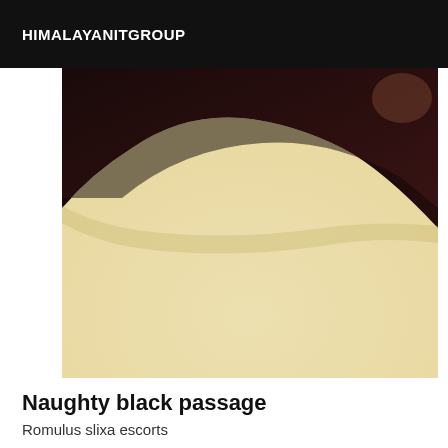HIMALAYANITGROUP
[Figure (photo): A close-up photograph showing a dark/black rounded object (possibly fabric or pillow) on a light cream/beige surface. The image has a warm, slightly faded tone.]
Naughty black passage
Romulus slixa escorts